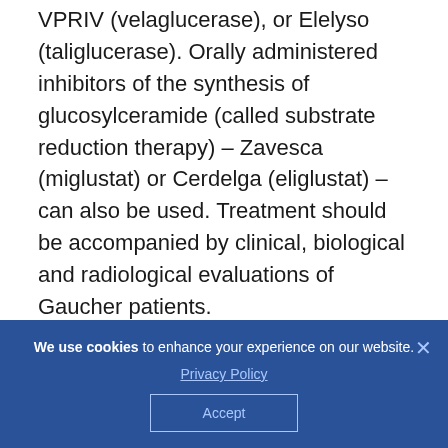VPRIV (velaglucerase), or Elelyso (taliglucerase). Orally administered inhibitors of the synthesis of glucosylceramide (called substrate reduction therapy) – Zavesca (miglustat) or Cerdelga (eliglustat) – can also be used. Treatment should be accompanied by clinical, biological and radiological evaluations of Gaucher patients.
Importantly, "available treatments make
[Figure (screenshot): Cookie consent banner with dark blue background. Text reads: 'We use cookies to enhance your experience on our website.' with a Privacy Policy link, an Accept button, and a close (×) button.]